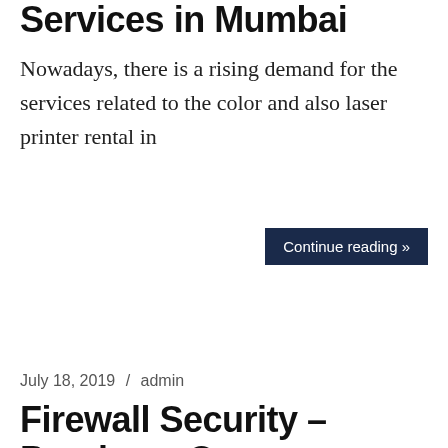Services in Mumbai
Nowadays, there is a rising demand for the services related to the color and also laser printer rental in
Continue reading »
July 18, 2019 / admin
Firewall Security – Purchase Or